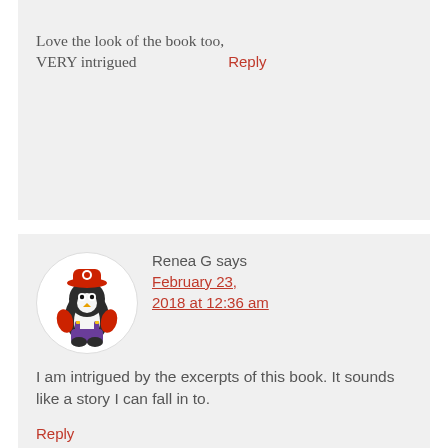Love the look of the book too, VERY intrigued
Reply
Renea G says
February 23, 2018 at 12:36 am
[Figure (illustration): Circular avatar showing a cartoon penguin dressed in a red Mario-style hat and purple overalls]
I am intrigued by the excerpts of this book. It sounds like a story I can fall in to.
Reply